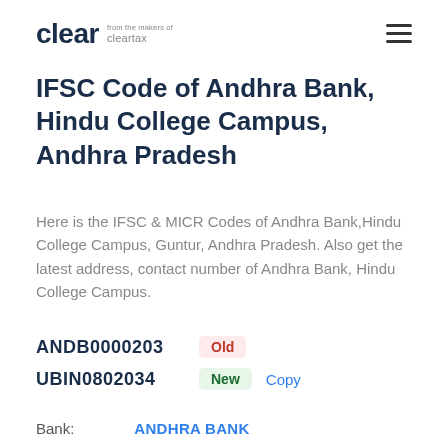clear from the makers of cleartax
IFSC Code of Andhra Bank, Hindu College Campus, Andhra Pradesh
Here is the IFSC & MICR Codes of Andhra Bank,Hindu College Campus, Guntur, Andhra Pradesh. Also get the latest address, contact number of Andhra Bank, Hindu College Campus.
ANDB0000203 Old
UBIN0802034 New Copy
Bank: ANDHRA BANK